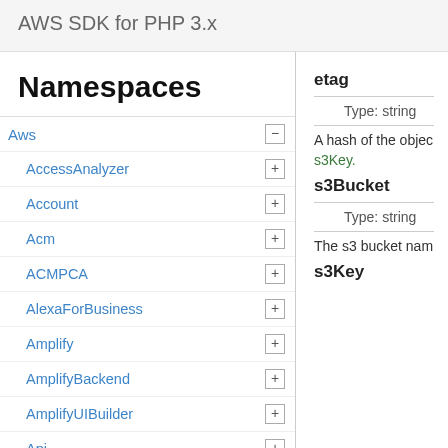AWS SDK for PHP 3.x
Namespaces
Aws
AccessAnalyzer
Account
Acm
ACMPCA
AlexaForBusiness
Amplify
AmplifyBackend
AmplifyUIBuilder
Api
ApiGateway
ApiGatewayManagementApi
etag
Type: string
A hash of the object
s3Key.
s3Bucket
Type: string
The s3 bucket name
s3Key